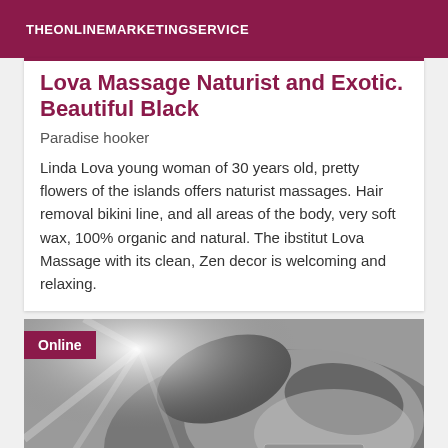THEONLINEMARKETINGSERVICE
Lova Massage Naturist and Exotic. Beautiful Black
Paradise hooker
Linda Lova young woman of 30 years old, pretty flowers of the islands offers naturist massages. Hair removal bikini line, and all areas of the body, very soft wax, 100% organic and natural. The ibstitut Lova Massage with its clean, Zen decor is welcoming and relaxing.
[Figure (photo): Grayscale photo of a massage scene with a person receiving a massage, with bright light rays in the background. An 'Online' badge overlays the top-left corner.]